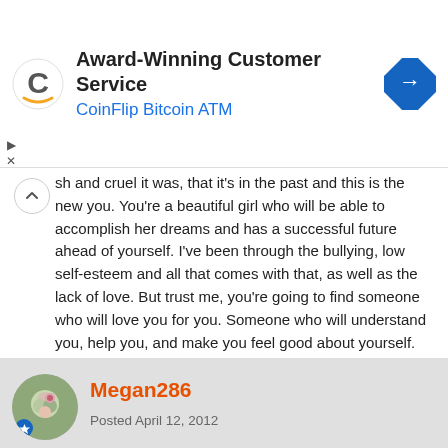[Figure (other): Advertisement banner for CoinFlip Bitcoin ATM with logo on left and navigation icon on right]
sh and cruel it was, that it's in the past and this is the new you. You're a beautiful girl who will be able to accomplish her dreams and has a successful future ahead of yourself. I've been through the bullying, low self-esteem and all that comes with that, as well as the lack of love. But trust me, you're going to find someone who will love you for you. Someone who will understand you, help you, and make you feel good about yourself. Everything will work out, you've just got to keep striving for it and even when you hit a rough spot, keep on going. Don't let anything or anyone get you down. This is your new life, live it to the fullest.
Megan286
Posted April 12, 2012